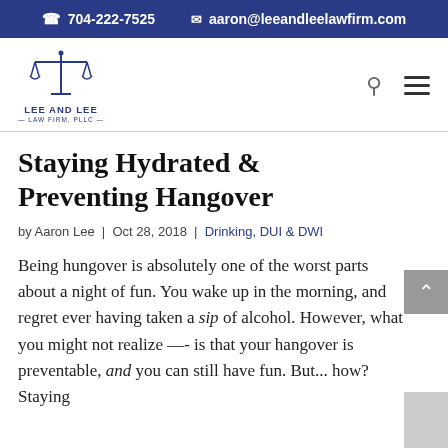704-222-7525   aaron@leeandleelawfirm.com
[Figure (logo): Lee and Lee Law Firm PLLC logo with scales of justice icon]
Staying Hydrated & Preventing Hangover
by Aaron Lee | Oct 28, 2018 | Drinking, DUI & DWI
Being hungover is absolutely one of the worst parts about a night of fun. You wake up in the morning, and regret ever having taken a sip of alcohol. However, what you might not realize —- is that your hangover is preventable, and you can still have fun. But... how? Staying